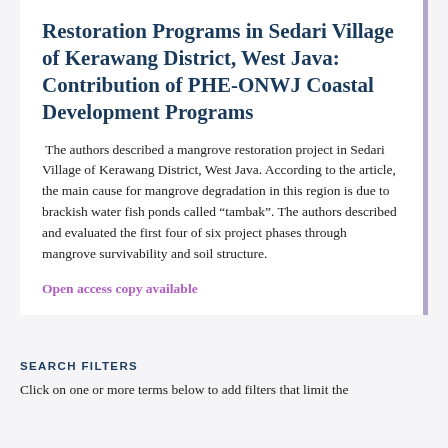Restoration Programs in Sedari Village of Kerawang District, West Java: Contribution of PHE-ONWJ Coastal Development Programs
The authors described a mangrove restoration project in Sedari Village of Kerawang District, West Java. According to the article, the main cause for mangrove degradation in this region is due to brackish water fish ponds called “tambak”. The authors described and evaluated the first four of six project phases through mangrove survivability and soil structure.
Open access copy available
SEARCH FILTERS
Click on one or more terms below to add filters that limit the